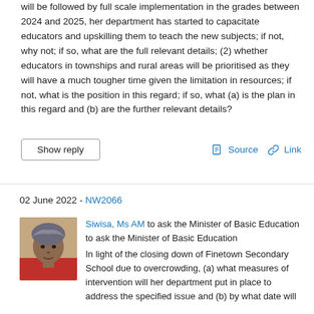will be followed by full scale implementation in the grades between 2024 and 2025, her department has started to capacitate educators and upskilling them to teach the new subjects; if not, why not; if so, what are the full relevant details; (2) whether educators in townships and rural areas will be prioritised as they will have a much tougher time given the limitation in resources; if not, what is the position in this regard; if so, what (a) is the plan in this regard and (b) are the further relevant details?
Show reply | Source | Link
02 June 2022 - NW2066
[Figure (photo): Portrait photo of Siwisa, Ms AM, a woman wearing a patterned headscarf and red top]
Siwisa, Ms AM to ask the Minister of Basic Education to ask the Minister of Basic Education In light of the closing down of Finetown Secondary School due to overcrowding, (a) what measures of intervention will her department put in place to address the specified issue and (b) by what date will